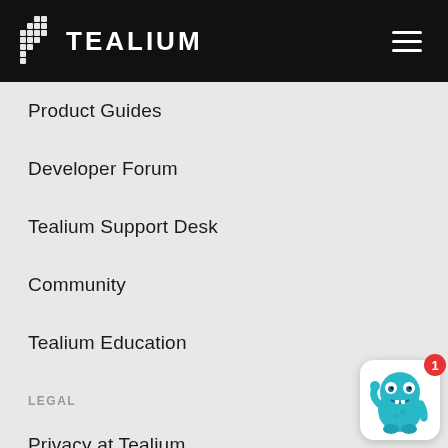TEALIUM
Product Guides
Developer Forum
Tealium Support Desk
Community
Tealium Education
LEGAL
Privacy at Tealium
Privacy Settings
Service Terms
[Figure (illustration): Blue monster chat widget with red notification badge showing '1']